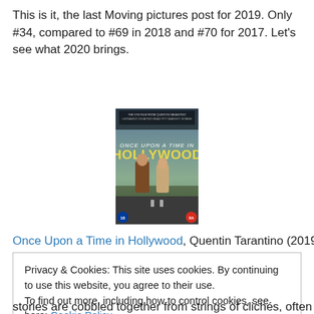This is it, the last Moving pictures post for 2019. Only #34, compared to #69 in 2018 and #70 for 2017. Let's see what 2020 brings.
[Figure (photo): DVD cover of 'Once Upon a Time in Hollywood' directed by Quentin Tarantino, featuring two men standing against a Hollywood backdrop with the title in large yellow letters.]
Once Upon a Time in Hollywood, Quentin Tarantino (2019,
Privacy & Cookies: This site uses cookies. By continuing to use this website, you agree to their use.
To find out more, including how to control cookies, see here: Cookie Policy
stories are cobbled together from strings of clichés, often